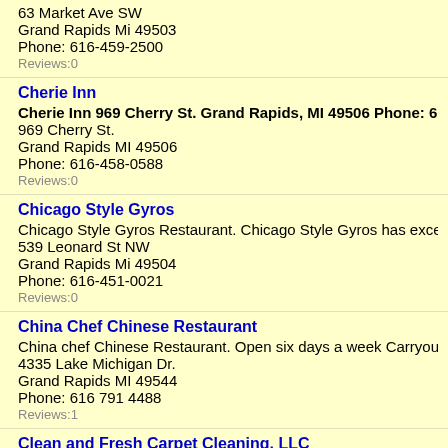63 Market Ave SW
Grand Rapids Mi 49503
Phone: 616-459-2500
Reviews:0
Cherie Inn
Cherie Inn 969 Cherry St. Grand Rapids, MI 49506 Phone: 616-...
969 Cherry St.
Grand Rapids MI 49506
Phone: 616-458-0588
Reviews:0
Chicago Style Gyros
Chicago Style Gyros Restaurant. Chicago Style Gyros has excell...
539 Leonard St NW
Grand Rapids Mi 49504
Phone: 616-451-0021
Reviews:0
China Chef Chinese Restaurant
China chef Chinese Restaurant. Open six days a week Carryout...
4335 Lake Michigan Dr.
Grand Rapids MI 49544
Phone: 616 791 4488
Reviews:1
Clean and Fresh Carpet Cleaning, LLC
Clean and Fresh Carpet Cleaning, L.L.C. Fully Insured, Reasona...
1717 Summerfield SE
Grand Rapids Michigan 49508
Phone: 616-455-7618
Reviews:0
Computer HELP!